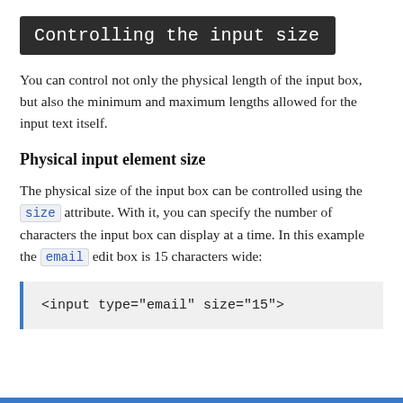Controlling the input size
You can control not only the physical length of the input box, but also the minimum and maximum lengths allowed for the input text itself.
Physical input element size
The physical size of the input box can be controlled using the size attribute. With it, you can specify the number of characters the input box can display at a time. In this example the email edit box is 15 characters wide:
<input type="email" size="15">